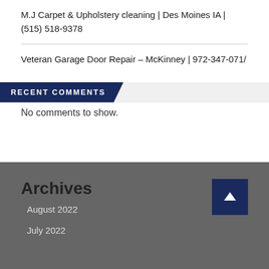M.J Carpet & Upholstery cleaning | Des Moines IA | (515) 518-9378
Veteran Garage Door Repair – McKinney | 972-347-071/
RECENT COMMENTS
No comments to show.
Archives
August 2022
July 2022